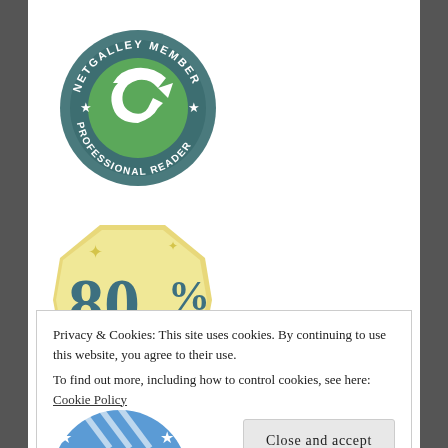[Figure (logo): NetGalley Member Professional Reader circular badge with green swirl arrow design on teal background with stars]
[Figure (logo): 80% golden/yellow octagonal badge with teal '80%' text and sparkle stars]
Privacy & Cookies: This site uses cookies. By continuing to use this website, you agree to their use.
To find out more, including how to control cookies, see here: Cookie Policy
Close and accept
[Figure (logo): Partial blue/white NetGalley badge visible at bottom of page with stars]